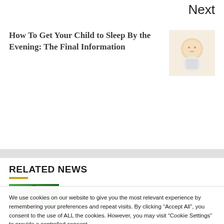Next
How To Get Your Child to Sleep By the Evening: The Final Information
[Figure (photo): Photo of a sleeping baby on white background]
RELATED NEWS
[Figure (photo): Photo of a woman in pink with sunglasses against green background]
The Prime 10 Vogue Labels
We use cookies on our website to give you the most relevant experience by remembering your preferences and repeat visits. By clicking “Accept All”, you consent to the use of ALL the cookies. However, you may visit “Cookie Settings” to provide a controlled consent.
Cookie Settings
Accept All